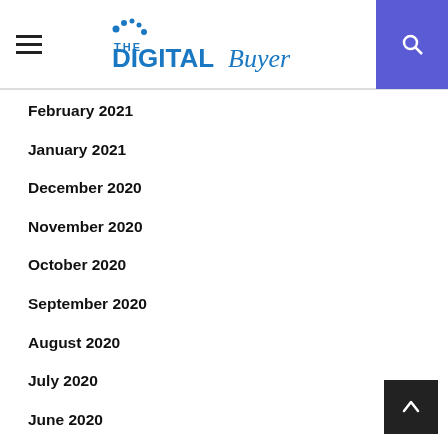The Digital Buyer
February 2021
January 2021
December 2020
November 2020
October 2020
September 2020
August 2020
July 2020
June 2020
May 2020
April 2020
March 2020
February 2020
January 2020